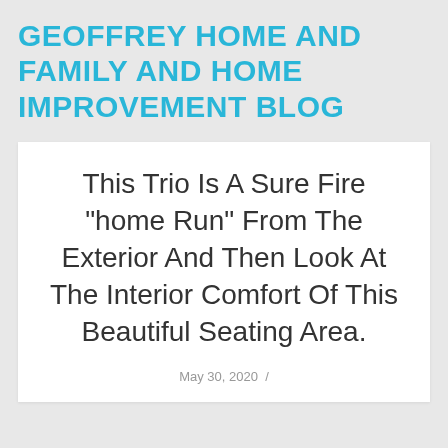GEOFFREY HOME AND FAMILY AND HOME IMPROVEMENT BLOG
This Trio Is A Sure Fire "home Run" From The Exterior And Then Look At The Interior Comfort Of This Beautiful Seating Area.
May 30, 2020  /